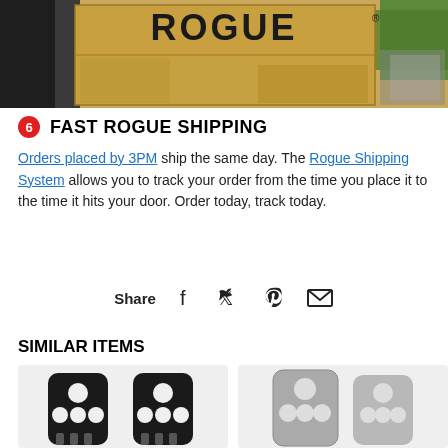[Figure (photo): Rogue branded cardboard boxes stacked, with a person in background. 'ROGUE' logo visible in large text on the box.]
6 FAST ROGUE SHIPPING
Orders placed by 3PM ship the same day. The Rogue Shipping System allows you to track your order from the time you place it to the time it hits your door. Order today, track today.
Share [facebook] [twitter] [pinterest] [email]
SIMILAR ITEMS
[Figure (photo): Two black Rogue hand grips/gymnastics palm protectors shown side by side]
[Figure (photo): Grey/silver Rogue hand grips shown]